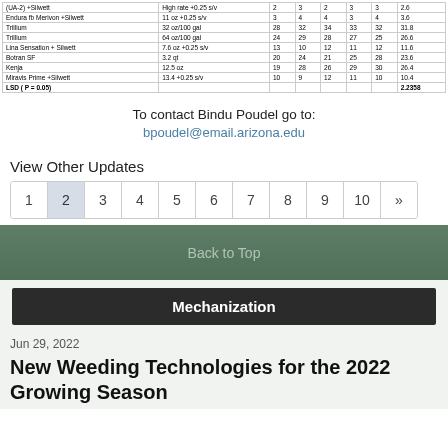| Treatment | Rate | 1 | 2 | 3 | 4 | 5 | Avg |
| --- | --- | --- | --- | --- | --- | --- | --- |
| (UA-2) +Silwett | High rate +0.25 s/v | 2 | 3 | 2 | 3 | 3 | 2.6 |
| Endura fb Merivon +Silwett | 11 oz +0.25 s/v | 3 | 4 | 4 | 3 | 4 | 3.6 |
| Trillium | 32 oz/100 gal | 28 | 32 | 34 | 33 | 32 | 31.8 |
| Trillium | 64 oz/100 gal | 24 | 29 | 28 | 27 | 25 | 26.6 |
| Lina Sensation + Silwett | 7.6 oz +0.25 s/v | 13 | 10 | 12 | 11 | 12 | 11.6 |
| Botran SF | 3.2 qt | 20 | 24 | 21 | 25 | 28 | 23.6 |
| Kenja | 12.5 oz | 19 | 28 | 26 | 29 | 30 | 26.4 |
| Miravis Prime +Silwett | 13.4 +0.25 s/v | 10 | 9 | 12 | 11 | 10 | 10.4 |
| LSD ( P = 0.05) |  |  |  |  |  |  | 2.2358 |
To contact Bindu Poudel go to:
bpoudel@email.arizona.edu
View Other Updates
1 2 3 4 5 6 7 8 9 10 »
Back to Top
Mechanization
Jun 29, 2022
New Weeding Technologies for the 2022 Growing Season